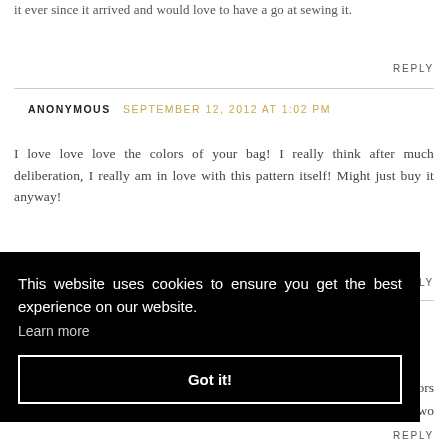it ever since it arrived and would love to have a go at sewing it.
REPLY
ANONYMOUS SEPTEMBER 12, 2012 AT 1:02 PM
I love love love the colors of your bag! I really think after much deliberation, I really am in love with this pattern itself! Might just buy it anyway!
REPLY
e colors
he two
REPLY
[Figure (other): Cookie consent banner overlay with black background. Text: 'This website uses cookies to ensure you get the best experience on our website. Learn more' and a 'Got it!' button with white border.]